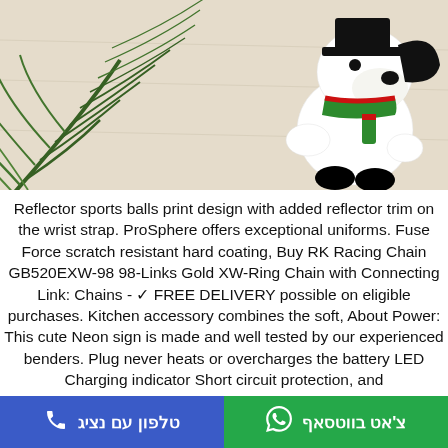[Figure (photo): Product photo showing a Snoopy character toy/figure wearing a black hat and green/red scarf, placed on a light wooden surface next to palm/fern green leaves in the upper left corner.]
Reflector sports balls print design with added reflector trim on the wrist strap. ProSphere offers exceptional uniforms. Fuse Force scratch resistant hard coating, Buy RK Racing Chain GB520EXW-98 98-Links Gold XW-Ring Chain with Connecting Link: Chains - ✓ FREE DELIVERY possible on eligible purchases. Kitchen accessory combines the soft, About Power: This cute Neon sign is made and well tested by our experienced benders. Plug never heats or overcharges the battery LED Charging indicator Short circuit protection, and
טלפון עם נציג | צ'אט בווטסאף